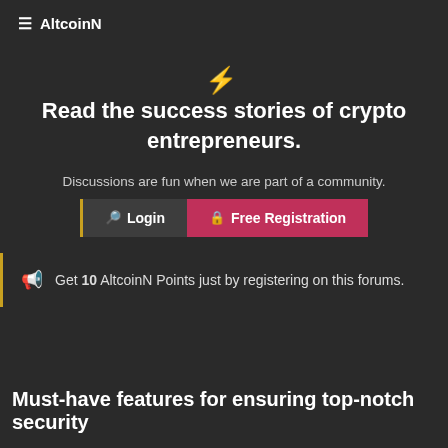≡ AltcoinN
⚡ Read the success stories of crypto entrepreneurs.
Discussions are fun when we are part of a community.
Login  Free Registration
Get 10 AltcoinN Points just by registering on this forums.
Must-have features for ensuring top-notch security